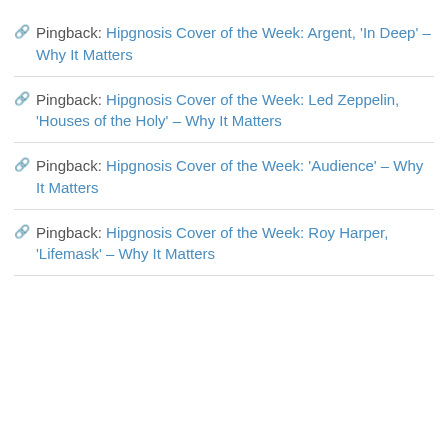Pingback: Hipgnosis Cover of the Week: Argent, 'In Deep' – Why It Matters
Pingback: Hipgnosis Cover of the Week: Led Zeppelin, 'Houses of the Holy' – Why It Matters
Pingback: Hipgnosis Cover of the Week: 'Audience' – Why It Matters
Pingback: Hipgnosis Cover of the Week: Roy Harper, 'Lifemask' – Why It Matters